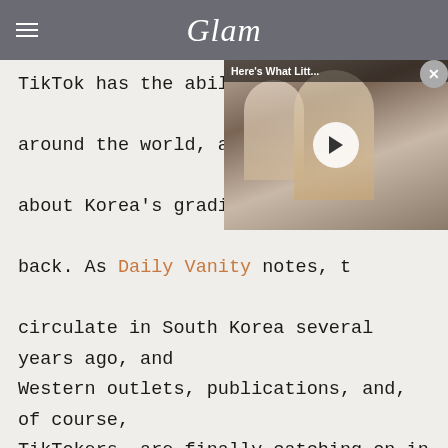Glam
TikTok has the ability to elevate trends from around the world, and once a trend circulating about Korea's gradient lip trend, it started to come back. As Daily Vanity notes, the trend began to circulate in South Korea several years ago, and Western outlets, publications, and, of course, TikTokers, are finally catching on in 2022.
[Figure (screenshot): Video thumbnail showing two blonde women (mother and child) with play button overlay, titled 'Here's What Litt...']
Achieving the look isn't too incredibly difficult, as long as you're patient and willing to experiment. As the site notes, you'll need just a few tools and supplies: concealer, lip color, lip gloss, and maybe a cotton pad if you don't want to use your fingers to pull the look off